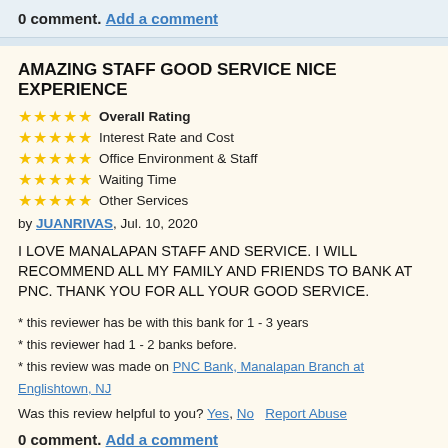0 comment. Add a comment
AMAZING STAFF GOOD SERVICE NICE EXPERIENCE
★★★★★ Overall Rating
★★★★★ Interest Rate and Cost
★★★★★ Office Environment & Staff
★★★★★ Waiting Time
★★★★★ Other Services
by JUANRIVAS, Jul. 10, 2020
I LOVE MANALAPAN STAFF AND SERVICE. I WILL RECOMMEND ALL MY FAMILY AND FRIENDS TO BANK AT PNC. THANK YOU FOR ALL YOUR GOOD SERVICE.
* this reviewer has be with this bank for 1 - 3 years
* this reviewer had 1 - 2 banks before.
* this review was made on PNC Bank, Manalapan Branch at Englishtown, NJ
Was this review helpful to you? Yes, No   Report Abuse
0 comment. Add a comment